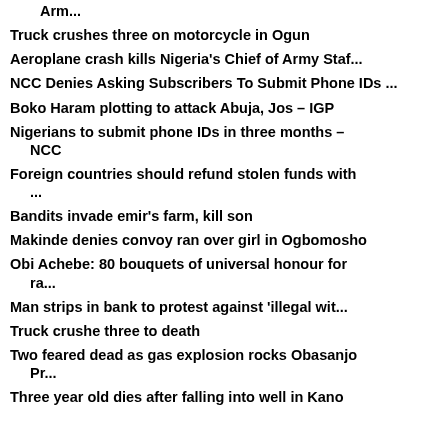Arm...
Truck crushes three on motorcycle in Ogun
Aeroplane crash kills Nigeria's Chief of Army Staf...
NCC Denies Asking Subscribers To Submit Phone IDs ...
Boko Haram plotting to attack Abuja, Jos – IGP
Nigerians to submit phone IDs in three months – NCC
Foreign countries should refund stolen funds with ...
Bandits invade emir's farm, kill son
Makinde denies convoy ran over girl in Ogbomosho
Obi Achebe: 80 bouquets of universal honour for ra...
Man strips in bank to protest against 'illegal wit...
Truck crushe three to death
Two feared dead as gas explosion rocks Obasanjo Pr...
Three year old dies after falling into well in Kano